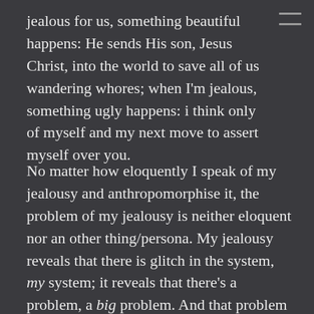jealous for us, something beautiful happens: He sends His son, Jesus Christ, into the world to save all of us wandering whores; when I'm jealous, something ugly happens: i think only of myself and my next move to assert myself over you.
No matter how eloquently I speak of my jealousy and anthropomorphise it, the problem of my jealousy is neither eloquent nor an other thing/persona. My jealousy reveals that there is glitch in the system, my system; it reveals that there's a problem, a big problem. And that problem is with me and my broken mind and hardened heart. Jealousy doesn't happen to me, but from within me. Jealousy is a loud siren and bright flashing red light that all is not well, that I'm completely broken.